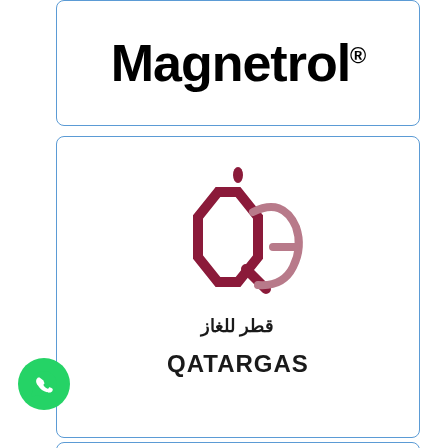[Figure (logo): Magnetrol logo in bold black text with registered trademark symbol]
[Figure (logo): Qatargas logo with hexagonal icon in dark red/maroon, Arabic text above and QATARGAS below]
[Figure (logo): Partially visible third logo card at bottom]
[Figure (other): WhatsApp chat button - green circle with white phone/chat icon]